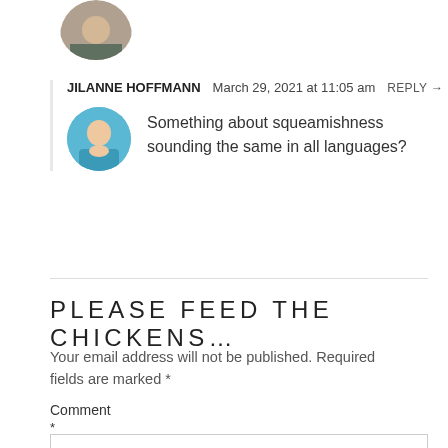[Figure (photo): Partial circular avatar photo at top left of page]
JILANNE HOFFMANN   March 29, 2021 at 11:05 am   REPLY →
[Figure (photo): Circular avatar photo of a person wearing a blue top]
Something about squeamishness sounding the same in all languages?
PLEASE FEED THE CHICKENS…
Your email address will not be published. Required fields are marked *
Comment
*